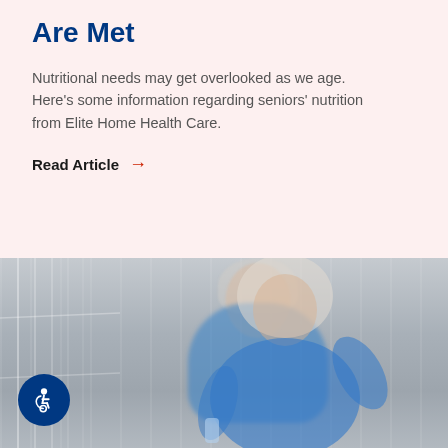Are Met
Nutritional needs may get overlooked as we age. Here's some information regarding seniors' nutrition from Elite Home Health Care.
Read Article →
[Figure (photo): A smiling older woman with gray-blonde hair, wearing a blue long-sleeve athletic top, holding a water bottle and appearing to check a smartwatch, photographed outdoors in a city setting. The background is desaturated/grayscale while the subject has color. A blue circular accessibility button with a wheelchair icon is visible in the lower left.]